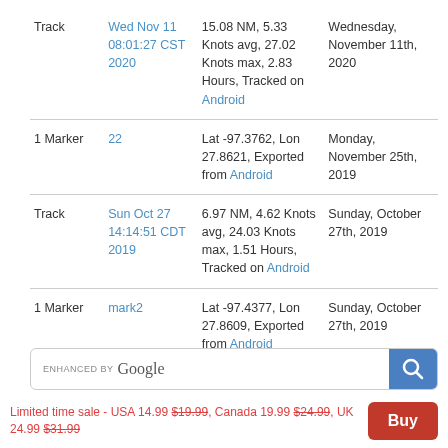| Type | Date/ID | Details | Date (Long) |
| --- | --- | --- | --- |
| Track | Wed Nov 11 08:01:27 CST 2020 | 15.08 NM, 5.33 Knots avg, 27.02 Knots max, 2.83 Hours, Tracked on Android | Wednesday, November 11th, 2020 |
| 1 Marker | 22 | Lat -97.3762, Lon 27.8621, Exported from Android | Monday, November 25th, 2019 |
| Track | Sun Oct 27 14:14:51 CDT 2019 | 6.97 NM, 4.62 Knots avg, 24.03 Knots max, 1.51 Hours, Tracked on Android | Sunday, October 27th, 2019 |
| 1 Marker | mark2 | Lat -97.4377, Lon 27.8609, Exported from Android | Sunday, October 27th, 2019 |
[Figure (other): Enhanced by Google search bar with blue search button]
Limited time sale - USA 14.99 $19.99, Canada 19.99 $24.99, UK 24.99 $31.99